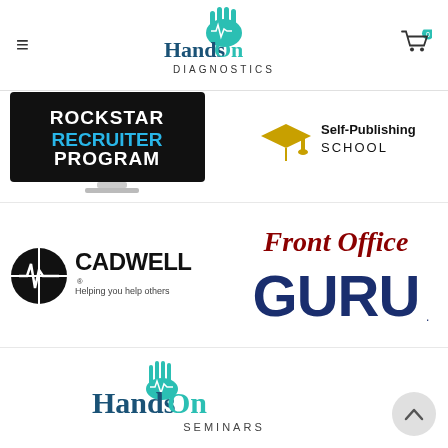HandsOn Diagnostics
[Figure (logo): Rockstar Recruiter Program logo on a computer monitor]
[Figure (logo): Self-Publishing School logo with graduation cap icon]
[Figure (logo): Cadwell logo with tagline Helping you help others]
[Figure (logo): Front Office Guru logo in red and dark blue]
[Figure (logo): HandsOn Seminars logo with hand icon in teal]